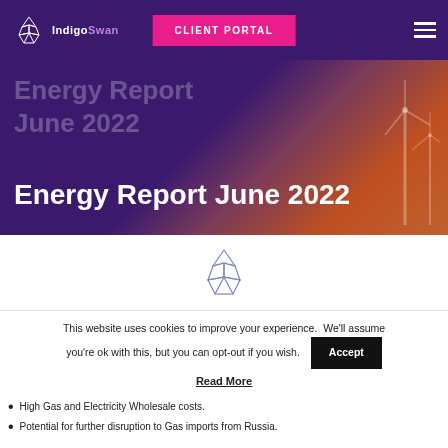[Figure (logo): IndigoSwan logo with origami swan icon in white on purple nav bar, with CLIENT PORTAL pink button and hamburger menu]
Energy Report June 2022
[Figure (illustration): IndigoSwan origami swan icon in purple/lavender outline, centered in white section]
This website uses cookies to improve your experience. We'll assume you're ok with this, but you can opt-out if you wish.
Accept
Read More
High Gas and Electricity Wholesale costs.
Potential for further disruption to Gas imports from Russia.